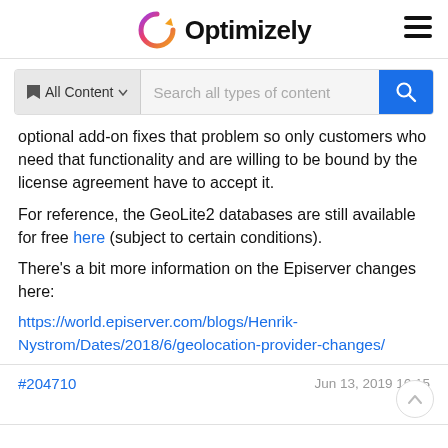Optimizely
[Figure (screenshot): Search bar with 'All Content' filter dropdown and 'Search all types of content' placeholder, plus blue search button]
optional add-on fixes that problem so only customers who need that functionality and are willing to be bound by the license agreement have to accept it.
For reference, the GeoLite2 databases are still available for free here (subject to certain conditions).
There's a bit more information on the Episerver changes here:
https://world.episerver.com/blogs/Henrik-Nystrom/Dates/2018/6/geolocation-provider-changes/
#204710   Jun 13, 2019 16:15